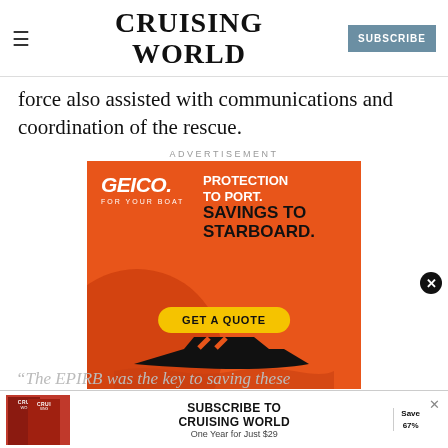CRUISING WORLD
force also assisted with communications and coordination of the rescue.
ADVERTISEMENT
[Figure (illustration): GEICO advertisement for boat insurance. Orange background with GEICO logo, text reading 'PROTECTION TO PORT. SAVINGS TO STARBOARD.' and a yellow 'GET A QUOTE' button, with a silhouette of a motorboat at the bottom.]
[Figure (illustration): Subscribe to Cruising World banner ad with magazine covers, text 'SUBSCRIBE TO CRUISING WORLD One Year for Just $29', Save 67% label, and X close button.]
“The EPIRB was the key to saving these